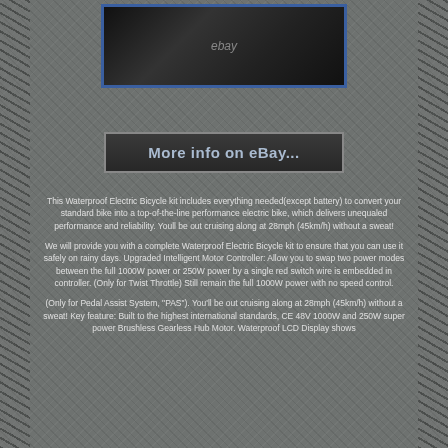[Figure (photo): Product image of an electric bicycle wheel/motor component shown on dark background with eBay watermark]
[Figure (other): eBay listing button reading 'More info on eBay...' with gray border on dark background]
This Waterproof Electric Bicycle kit includes everything needed(except battery) to convert your standard bike into a top-of-the-line performance electric bike, which delivers unequaled performance and reliability. Youll be out cruising along at 28mph (45km/h) without a sweat!
We will provide you with a complete Waterproof Electric Bicycle kit to ensure that you can use it safely on rainy days. Upgraded Intelligent Motor Controller: Allow you to swap two power modes between the full 1000W power or 250W power by a single red switch wire is embedded in controller. (Only for Twist Throttle) Still remain the full 1000W power with no speed control.
(Only for Pedal Assist System, "PAS"). You'll be out cruising along at 28mph (45km/h) without a sweat! Key feature: Built to the highest international standards, CE 48V 1000W and 250W super power Brushless Gearless Hub Motor. Waterproof LCD Display shows